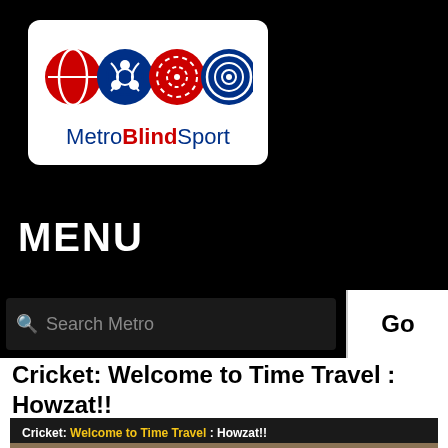[Figure (logo): MetroBlindSport logo with four sport ball icons (red rugby ball, blue cricket ball with biohazard symbol, red dashed circle target, blue concentric circles target) and text 'MetroBlindSport']
MENU
Search Metro
Go
Cricket: Welcome to Time Travel : Howzat!!
Cricket: Welcome to Time Travel : Howzat!!
[Figure (photo): Old sepia photograph of people, partially visible at the bottom of the page]